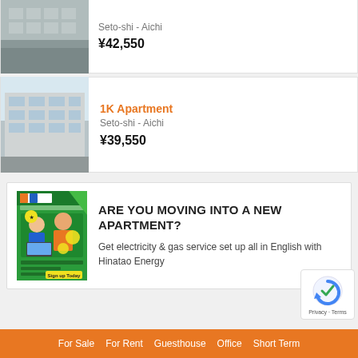[Figure (photo): Partial listing card showing apartment building thumbnail at top of page]
Seto-shi - Aichi
¥42,550
[Figure (photo): Apartment building exterior photo, multi-storey modern building]
1K Apartment
Seto-shi - Aichi
¥39,550
[Figure (infographic): Hinatao Energy advertisement banner with image of people and energy branding]
ARE YOU MOVING INTO A NEW APARTMENT?
Get electricity & gas service set up all in English with Hinatao Energy
For Sale   For Rent   Guesthouse   Office   Short Term